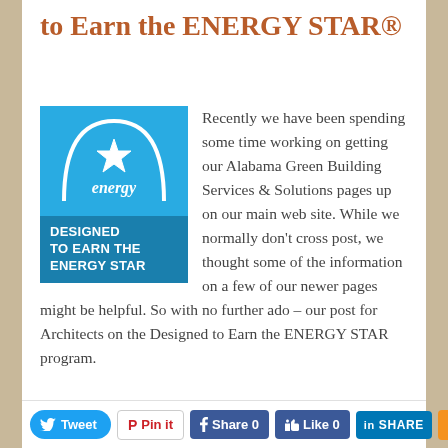to Earn the ENERGY STAR®
[Figure (logo): ENERGY STAR logo — blue square with white arc and star design above text 'DESIGNED TO EARN THE ENERGY STAR' on darker blue band]
Recently we have been spending some time working on getting our Alabama Green Building Services & Solutions pages up on our main web site. While we normally don't cross post, we thought some of the information on a few of our newer pages might be helpful. So with no further ado – our post for Architects on the Designed to Earn the ENERGY STAR program.
Tweet | Pin it | Share 0 | Like 0 | SHARE | share